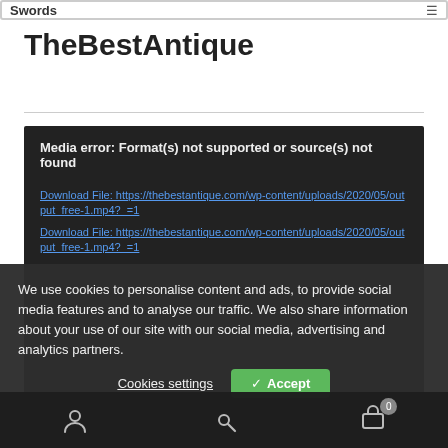Swords
TheBestAntique
Media error: Format(s) not supported or source(s) not found

Download File: https://thebestantique.com/wp-content/uploads/2020/05/output_free-1.mp4?_=1
Download File: https://thebestantique.com/wp-content/uploads/2020/05/output_free-1.mp4?_=1
We use cookies to personalise content and ads, to provide social media features and to analyse our traffic. We also share information about your use of our site with our social media, advertising and analytics partners.
Cookies settings   ✓ Accept